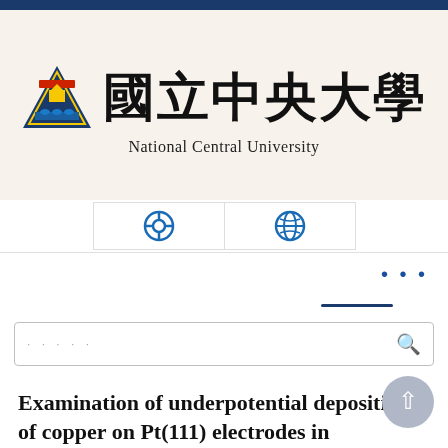[Figure (logo): National Central University logo: triangle emblem with Chinese characters and 'National Central University' text in English]
[Figure (screenshot): University website navigation tabs with globe/help icons]
[Figure (screenshot): Search bar with dots placeholder and search icon]
Examination of underpotential deposition of copper on Pt(111) electrodes in hydrochloric acid solutions with in situ scanning tunnelling microscopy